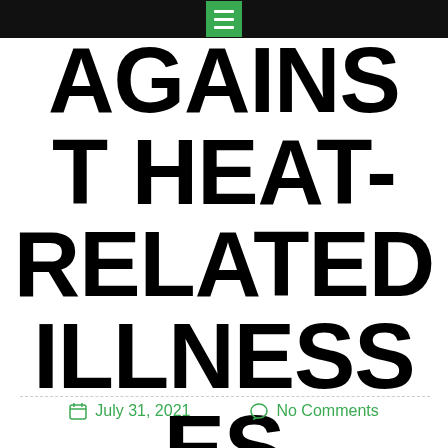Navigation bar with hamburger menu
AGAINST HEAT-RELATED ILLNESSES
July 31, 2021   No Comments